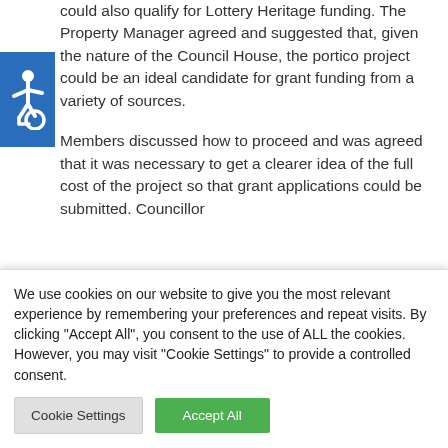[Figure (illustration): Blue square with white wheelchair accessibility icon]
could also qualify for Lottery Heritage funding. The Property Manager agreed and suggested that, given the nature of the Council House, the portico project could be an ideal candidate for grant funding from a variety of sources.

Members discussed how to proceed and was agreed that it was necessary to get a clearer idea of the full cost of the project so that grant applications could be submitted. Councillor
We use cookies on our website to give you the most relevant experience by remembering your preferences and repeat visits. By clicking "Accept All", you consent to the use of ALL the cookies. However, you may visit "Cookie Settings" to provide a controlled consent.